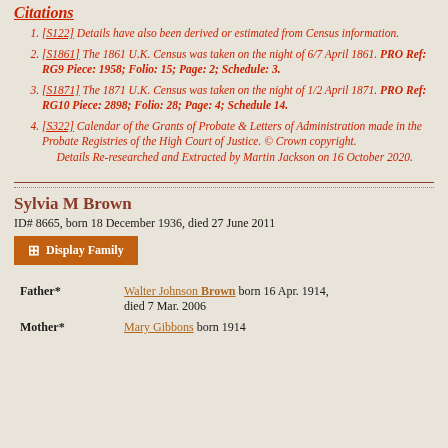Citations
[S122] Details have also been derived or estimated from Census information.
[S1861] The 1861 U.K. Census was taken on the night of 6/7 April 1861. PRO Ref: RG9 Piece: 1958; Folio: 15; Page: 2; Schedule: 3.
[S1871] The 1871 U.K. Census was taken on the night of 1/2 April 1871. PRO Ref: RG10 Piece: 2898; Folio: 28; Page: 4; Schedule 14.
[S322] Calendar of the Grants of Probate & Letters of Administration made in the Probate Registries of the High Court of Justice. © Crown copyright. Details Re-researched and Extracted by Martin Jackson on 16 October 2020.
Sylvia M Brown
ID# 8665, born 18 December 1936, died 27 June 2011
Display Family
| Role | Person |
| --- | --- |
| Father* | Walter Johnson Brown born 16 Apr. 1914, died 7 Mar. 2006 |
| Mother* | Mary Gibbons born 1914 |